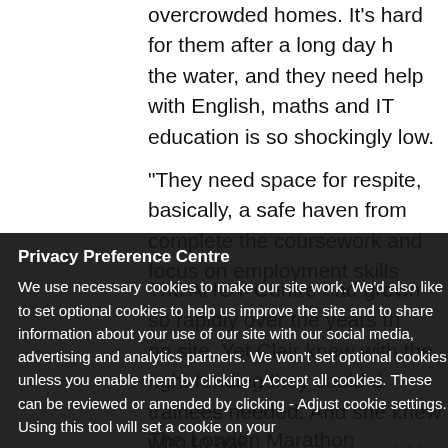overcrowded homes. It's hard for them after a long day he the water, and they need help with English, maths and IT education is so shockingly low.
“They need space for respite, basically, a safe haven from complete the coursework and focus on employment skills
The AHOY Centre had grown so rapidly over the years th on site. Yet Clair knew with the right funding they could trainees needed. And she knew who to ask.
The London Marathon Charitable Trust was set up as a re Marathon founders Chris Brasher and John Disley, to ho Marathon Events Limited, which organises the race and the provision of recreational facilities in London and oth holds events.
According to Chief Executive Sarah Ridley, the AHO project. The Trust wants to support one requires capital to use new facilities aims to increase physical a
Privacy Preference Centre
We use necessary cookies to make our site work. We'd also like to set optional cookies to help us improve the site and to share information about your use of our site with our social media, advertising and analytics partners. We won't set optional cookies unless you enable them by clicking - Accept all cookies. These can be reviewed or amended by clicking - Adjust cookie settings. Using this tool will set a cookie on your